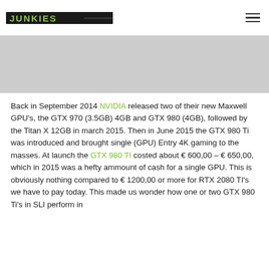JUNKIES [logo] [hamburger menu]
[Figure (photo): Gray image placeholder banner at top of article]
Back in September 2014 NVIDIA released two of their new Maxwell GPU's, the GTX 970 (3.5GB) 4GB and GTX 980 (4GB), followed by the Titan X 12GB in march 2015. Then in June 2015 the GTX 980 Ti was introduced and brought single (GPU) Entry 4K gaming to the masses. At launch the GTX 980 TI costed about € 600,00 – € 650,00, which in 2015 was a hefty ammount of cash for a single GPU. This is obviously nothing compared to € 1200,00 or more for RTX 2080 TI's we have to pay today. This made us wonder how one or two GTX 980 Ti's in SLI perform in